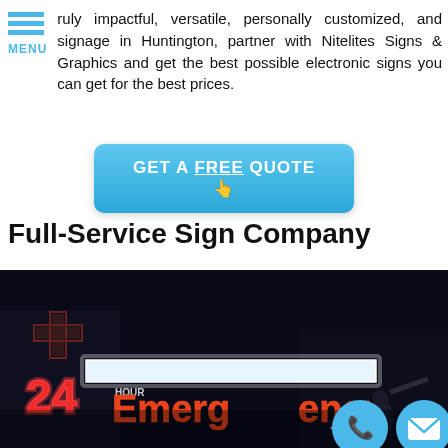MENU
truly impactful, versatile, personally customized, and signage in Huntington, partner with Nitelites Signs & Graphics and get the best possible electronic signs you can get for the best prices.
GET A FREE QUOTE
Full-Service Sign Company
[Figure (photo): Night-time photo of an illuminated sign reading '24 Hour Emergency' with bright red and white LED lettering against a dark background, with a worker on a lift visible.]